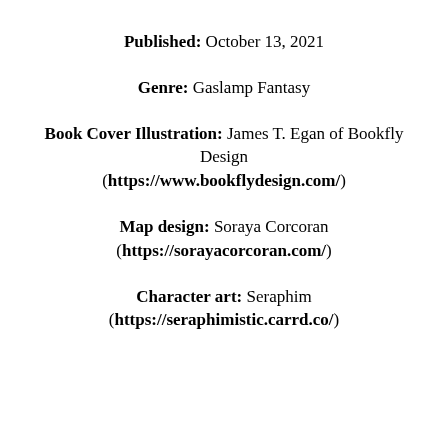Published: October 13, 2021
Genre: Gaslamp Fantasy
Book Cover Illustration: James T. Egan of Bookfly Design (https://www.bookflydesign.com/)
Map design: Soraya Corcoran (https://sorayacorcoran.com/)
Character art: Seraphim (https://seraphimistic.carrd.co/)